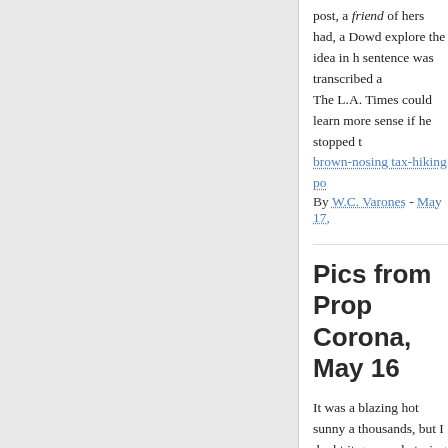post, a friend of hers had, a Dowd explore the idea in h sentence was transcribed a
The L.A. Times could learn more sense if he stopped t brown-nosing tax-hiking po
By W.C. Varones - May 17,
Pics from Prop Corona, May 16
It was a blazing hot sunny a thousands, but I doubt it go people trying to get in. Let's the matter (toward the end